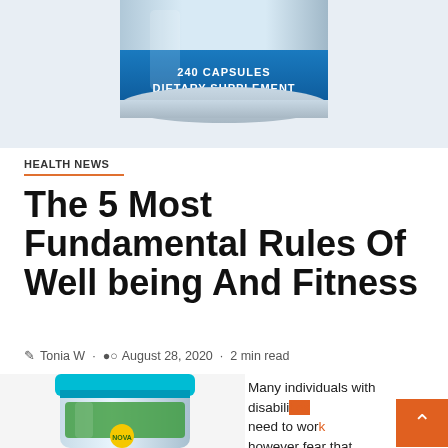[Figure (photo): Top portion of a dietary supplement bottle showing label with '240 CAPSULES DIETARY SUPPLEMENT' text, blue and white coloring]
HEALTH NEWS
The 5 Most Fundamental Rules Of Well being And Fitness
Tonia W · August 28, 2020 · 2 min read
[Figure (photo): Nova dietary supplement bottle with blue cap, partial bottom view]
Many individuals with disabilities need to work however fear that doing so might